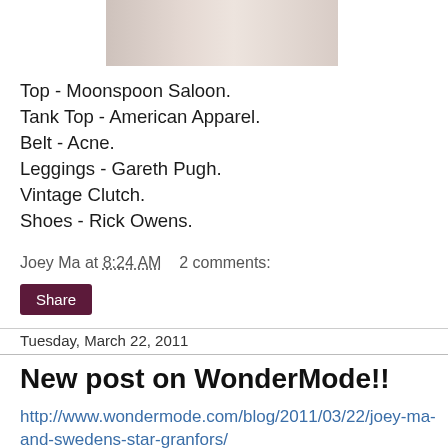[Figure (photo): Partial photo of fashion outfit, upper portion visible — muted beige/grey tones]
Top - Moonspoon Saloon.
Tank Top - American Apparel.
Belt - Acne.
Leggings - Gareth Pugh.
Vintage Clutch.
Shoes - Rick Owens.
Joey Ma at 8:24 AM    2 comments:
Share
Tuesday, March 22, 2011
New post on WonderMode!!
http://www.wondermode.com/blog/2011/03/22/joey-ma-and-swedens-star-granfors/
Love,
Joey,